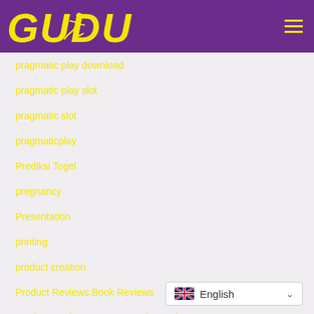[Figure (logo): GUDU logo in yellow bold italic text with a running figure silhouette on purple background]
pragmatic play download
pragmatic play slot
pragmatic slot
pragmaticplay
Prediksi Togel
pregnancy
Presentation
printing
product creation
Product Reviews:Book Reviews
Product Reviews:Consumer Electronics
Product Reviews:Consumer Electronics
[Figure (other): English language selector widget with UK flag and dropdown arrow]